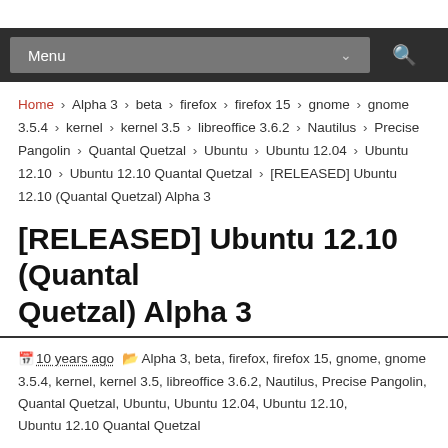[Figure (screenshot): Navigation bar with dark background, 'Menu' dropdown and search icon]
Home › Alpha 3 › beta › firefox › firefox 15 › gnome › gnome 3.5.4 › kernel › kernel 3.5 › libreoffice 3.6.2 › Nautilus › Precise Pangolin › Quantal Quetzal › Ubuntu › Ubuntu 12.04 › Ubuntu 12.10 › Ubuntu 12.10 Quantal Quetzal › [RELEASED] Ubuntu 12.10 (Quantal Quetzal) Alpha 3
[RELEASED] Ubuntu 12.10 (Quantal Quetzal) Alpha 3
10 years ago   Alpha 3, beta, firefox, firefox 15, gnome, gnome 3.5.4, kernel, kernel 3.5, libreoffice 3.6.2, Nautilus, Precise Pangolin, Quantal Quetzal, Ubuntu, Ubuntu 12.04, Ubuntu 12.10, Ubuntu 12.10 Quantal Quetzal